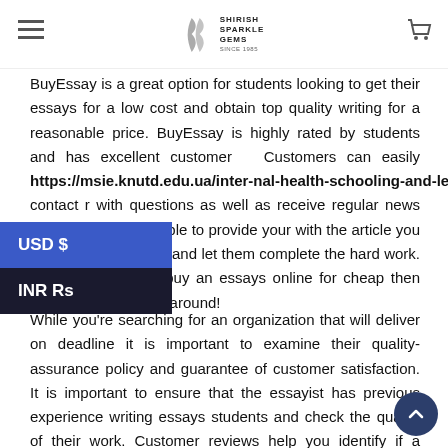Shirish Sparkle Gems
BuyEssay is a great option for students looking to get their essays for a low cost and obtain top quality writing for a reasonable price. BuyEssay is highly rated by students and has excellent customer Customers can easily https://msie.knutd.edu.ua/internal-health-schooling-and-learning-collaboration/ contact r with questions as well as receive regular news and They'll also be able to provide your with the article you require swiftly. Relax and let them complete the hard work. If you're looking to buy an essays online for cheap then there's no reas shop around!
While you're searching for an organization that will deliver on deadline it is important to examine their quality-assurance policy and guarantee of customer satisfaction. It is important to ensure that the essayist has previous experience writing essays students and check the quality of their work. Customer reviews help you identify if a business offers these kinds of services. When you've done your homework, you'll be able figure out which BuyEssay is the right choice for you.